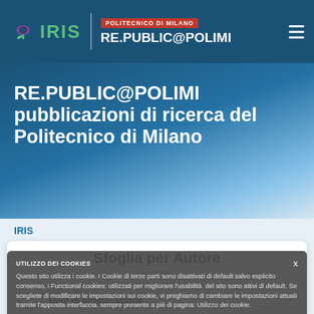[Figure (screenshot): IRIS RE.PUBLIC@POLIMI university repository website screenshot with navigation bar, hero section, breadcrumb, browse card, and cookie consent overlay]
POLITECNICO DI MILANO RE.PUBLIC@POLIMI
RE.PUBLIC@POLIMI pubblicazioni di ricerca del Politecnico di Milano
IRIS
Sfoglia per Autore
opzioni
UTILIZZO DEI COOKIES
Questo sito utilizza i cookie. I Cookie di terze parti sono disattivati di default salvo esplicito consenso, i Functional cookies: utilizzati per migliorare l'usabilità del sito sono attivi di default. Se scegliete di modificare le impostazioni sui cookie, vi preghiamo di cambiare le impostazioni attuali tramite l'apposita interfaccia. sempre presente a piè di pagina: Utilizzo dei cookie.
Ordina per
Data di pubblicazione